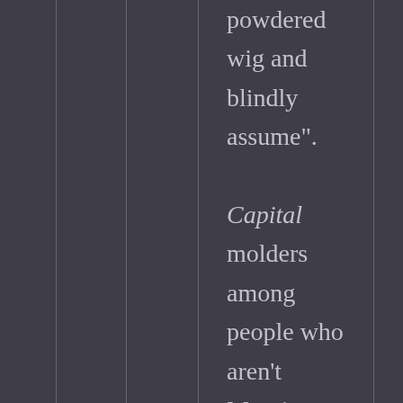powdered wig and blindly assume". Capital molders among people who aren't Marxists using it as part of smug arguments from authority,